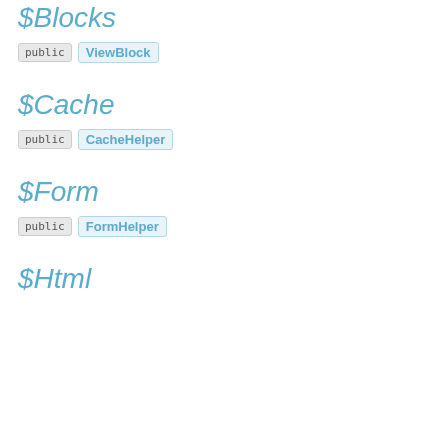$Blocks
public ViewBlock
$Cache
public CacheHelper
$Form
public FormHelper
$Html